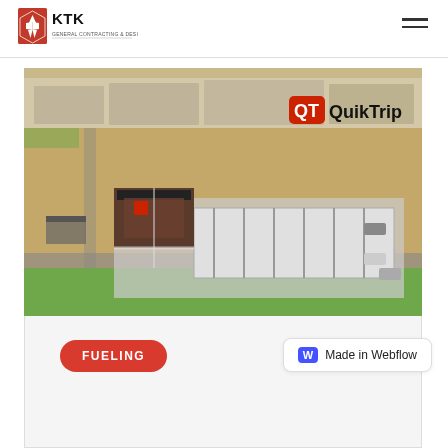KTK General Contracting & Design
[Figure (photo): Aerial drone photograph of a QuikTrip fuel station and convenience store with large fuel canopy, surrounded by open land and parking area. QuikTrip logo visible in upper right of image.]
FUELING
Made in Webflow